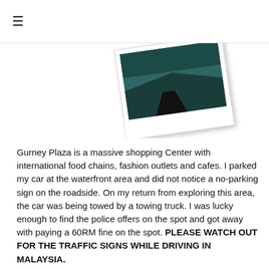≡
[Figure (photo): A polaroid-style photo showing a road or waterfront area, tilted slightly, with a dark teal/green scene visible.]
Gurney Plaza is a massive shopping Center with international food chains, fashion outlets and cafes. I parked my car at the waterfront area and did not notice a no-parking sign on the roadside. On my return from exploring this area, the car was being towed by a towing truck. I was lucky enough to find the police offers on the spot and got away with paying a 60RM fine on the spot. PLEASE WATCH OUT FOR THE TRAFFIC SIGNS WHILE DRIVING IN MALAYSIA.
Driving at night time on a weekend night is fun in Penang as the weekend bring plenty of people to the city and street-